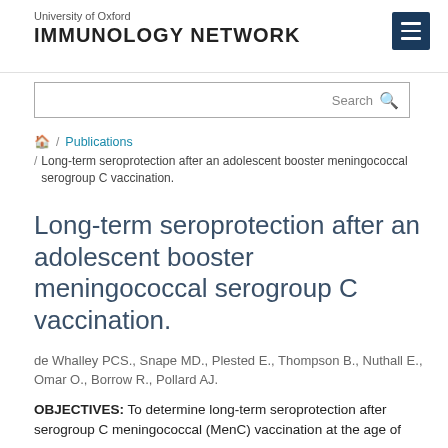University of Oxford IMMUNOLOGY NETWORK
Search
/ Publications / Long-term seroprotection after an adolescent booster meningococcal serogroup C vaccination.
Long-term seroprotection after an adolescent booster meningococcal serogroup C vaccination.
de Whalley PCS., Snape MD., Plested E., Thompson B., Nuthall E., Omar O., Borrow R., Pollard AJ.
OBJECTIVES: To determine long-term seroprotection after serogroup C meningococcal (MenC) vaccination at the age of